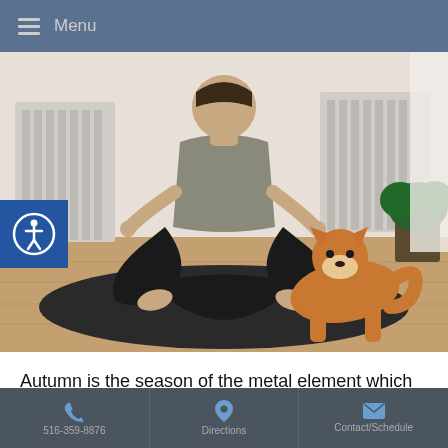Menu
[Figure (photo): A woman sitting cross-legged in a yoga meditation pose on a black yoga mat on a wooden floor, wearing dark pants and a grey sports top. A Shiba Inu dog sits beside her on the mat. A radiator and a plant are visible in the background.]
Autumn is the season of the metal element which highlights the important functions of the Lung and its TCM counterpart, the Large Intestine. The Metal element is about refinement and elimination, taking in what the earth gives us, refining it and then releasing what is not needed. Breath is a perfect example of this as we inhale the air and purify it for use in the
516-359-8876  Directions  Contact/Schedule